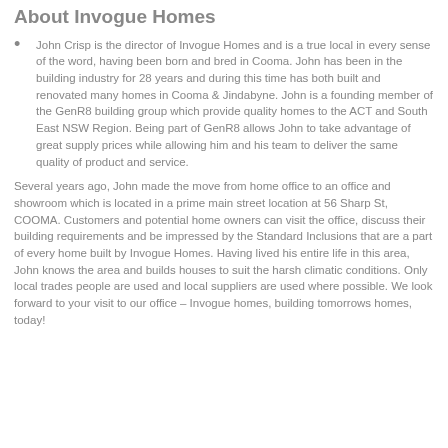About Invogue Homes
John Crisp is the director of Invogue Homes and is a true local in every sense of the word, having been born and bred in Cooma. John has been in the building industry for 28 years and during this time has both built and renovated many homes in Cooma & Jindabyne. John is a founding member of the GenR8 building group which provide quality homes to the ACT and South East NSW Region. Being part of GenR8 allows John to take advantage of great supply prices while allowing him and his team to deliver the same quality of product and service.
Several years ago, John made the move from home office to an office and showroom which is located in a prime main street location at 56 Sharp St, COOMA. Customers and potential home owners can visit the office, discuss their building requirements and be impressed by the Standard Inclusions that are a part of every home built by Invogue Homes. Having lived his entire life in this area, John knows the area and builds houses to suit the harsh climatic conditions. Only local trades people are used and local suppliers are used where possible. We look forward to your visit to our office – Invogue homes, building tomorrows homes, today!